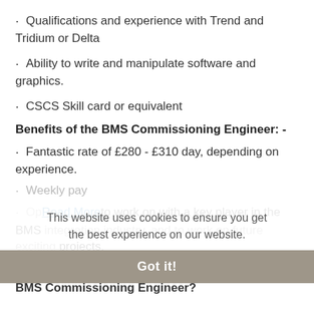Qualifications and experience with Trend and Tridium or Delta
Ability to write and manipulate software and graphics.
CSCS Skill card or equivalent
Benefits of the BMS Commissioning Engineer: -
Fantastic rate of £280 - £310 day, depending on experience.
Weekly pay
Opportunity to work on with a key player in the BMS integration industry, and to work on future exciting projects.
Do you think you have what it takes to be our next BMS Commissioning Engineer?